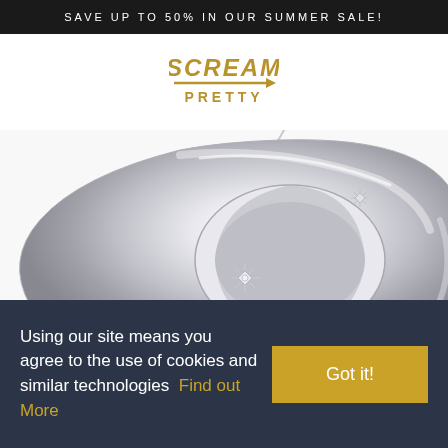SAVE UP TO 50% IN OUR SUMMER SALE!
[Figure (logo): Scream Pretty brand logo in gold/dark yellow with italic SCREAM text, horizontal line with arrow, and PRETTY text below]
[Figure (photo): Close-up photo of a silver/white gold ring with star-set diamond stones on a white background]
Using our site means you agree to the use of cookies and similar technologies  Find out More
Got it!